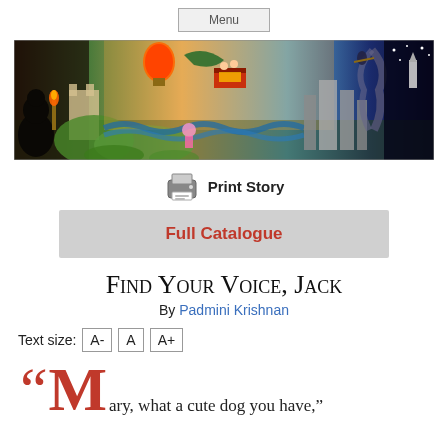Menu
[Figure (illustration): Colorful panoramic fantasy/adventure banner illustration featuring various storybook scenes including a gorilla, castle, hot air balloon, dragon, children on a flying book, witch on broomstick, tornado, city skyline, rocket, and starry night sky — all in a vibrant painted style.]
Print Story
Full Catalogue
Find Your Voice, Jack
By Padmini Krishnan
Text size: A- A A+
“Mary, what a cute dog you have,”